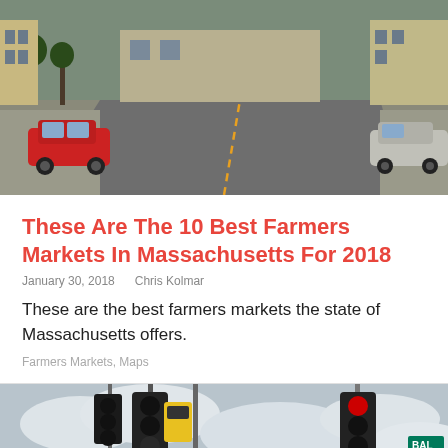[Figure (photo): Street scene with a red car parked on the left side of a wide road, trees lining the sidewalk, and buildings in the background. Another car is visible on the right side.]
These Are The 10 Best Farmers Markets In Massachusetts For 2018
January 30, 2018    Chris Kolmar
These are the best farmers markets the state of Massachusetts offers.
Farmers Markets, Maps
[Figure (photo): Street intersection with traffic lights showing red, overcast sky with clouds, and a street sign reading BAL in the upper right corner.]